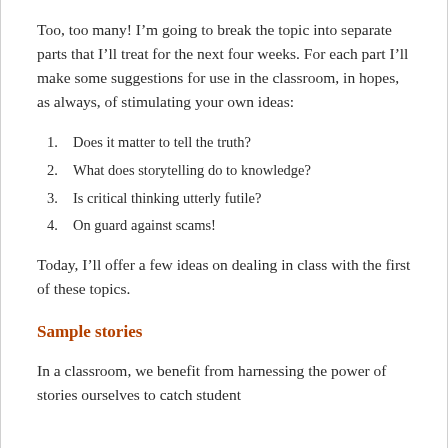Too, too many! I'm going to break the topic into separate parts that I'll treat for the next four weeks. For each part I'll make some suggestions for use in the classroom, in hopes, as always, of stimulating your own ideas:
1. Does it matter to tell the truth?
2. What does storytelling do to knowledge?
3. Is critical thinking utterly futile?
4. On guard against scams!
Today, I'll offer a few ideas on dealing in class with the first of these topics.
Sample stories
In a classroom, we benefit from harnessing the power of stories ourselves to catch student